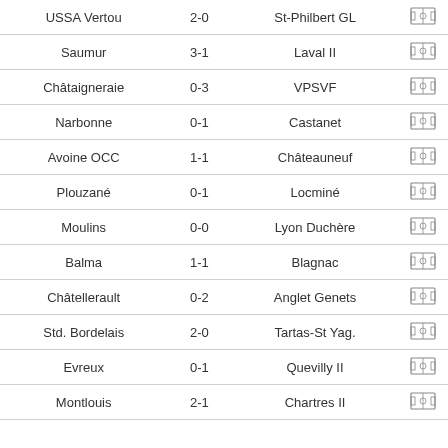| Home | Score | Away |  |
| --- | --- | --- | --- |
| USSA Vertou | 2-0 | St-Philbert GL | ⚽ |
| Saumur | 3-1 | Laval II | ⚽ |
| Châtaigneraie | 0-3 | VPSVF | ⚽ |
| Narbonne | 0-1 | Castanet | ⚽ |
| Avoine OCC | 1-1 | Châteauneuf | ⚽ |
| Plouzané | 0-1 | Locminé | ⚽ |
| Moulins | 0-0 | Lyon Duchère | ⚽ |
| Balma | 1-1 | Blagnac | ⚽ |
| Châtellerault | 0-2 | Anglet Genets | ⚽ |
| Std. Bordelais | 2-0 | Tartas-St Yag. | ⚽ |
| Evreux | 0-1 | Quevilly II | ⚽ |
| Montlouis | 2-1 | Chartres II | ⚽ |